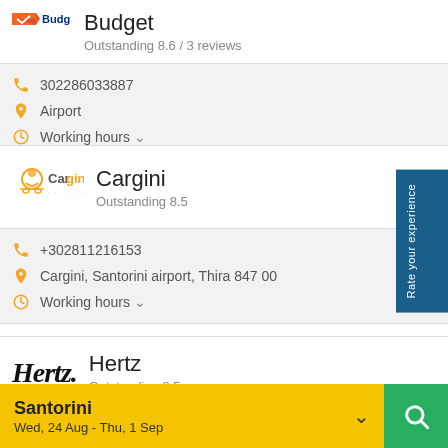[Figure (logo): Budget car rental logo with orange/red flag mark and blue 'Budget' text]
Budget
Outstanding 8.6 / 3 reviews
302286033887
Airport
Working hours
[Figure (logo): Cargini logo with yellow car/person icon and text 'Cargini']
Cargini
Outstanding 8.5
+302811216153
Cargini, Santorini airport, Thira 847 00
Working hours
[Figure (logo): Hertz logo in bold italic serif font]
Hertz
Outstanding 8.5
Santorini
Wed, 24 Aug - Thu, 1 Sep